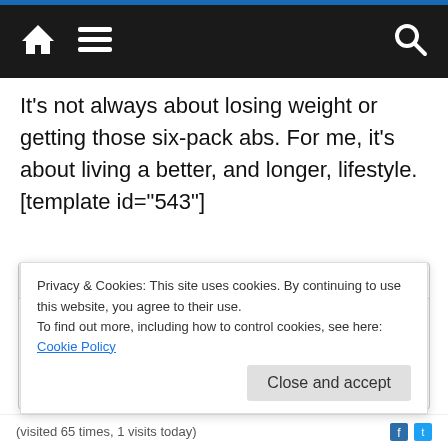Navigation bar with home, menu, and search icons
It’s not always about losing weight or getting those six-pack abs. For me, it’s about living a better, and longer, lifestyle.[template id=“543”]
Author | Recent Posts
Michael Brockbank
Michael developed ColoradoPlays to help various charities through his favorite pastime. Since then, the blog and Twitch
Privacy & Cookies: This site uses cookies. By continuing to use this website, you agree to their use.
To find out more, including how to control cookies, see here: Cookie Policy
(visited 65 times, 1 visits today)